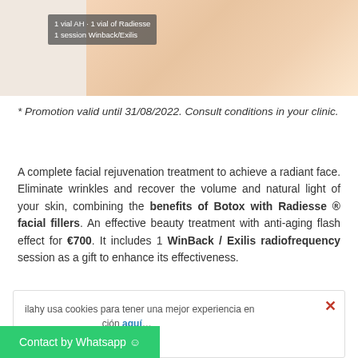[Figure (photo): Promotional image of a woman's neck/face area with a grey overlay box reading '1 vial AH · 1 vial of Radiesse / 1 session Winback/Exilis']
* Promotion valid until 31/08/2022. Consult conditions in your clinic.
A complete facial rejuvenation treatment to achieve a radiant face. Eliminate wrinkles and recover the volume and natural light of your skin, combining the benefits of Botox with Radiesse ® facial fillers. An effective beauty treatment with anti-aging flash effect for €700. It includes 1 WinBack / Exilis radiofrequency session as a gift to enhance its effectiveness.
What are Radiesse® facial fillers?
ilahy usa cookies para tener una mejor experiencia en ... ción aquí...